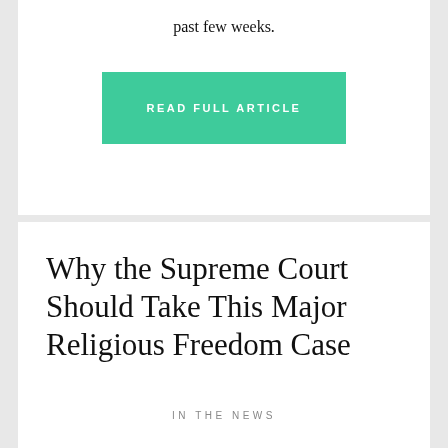past few weeks.
[Figure (other): Green 'READ FULL ARTICLE' button]
Why the Supreme Court Should Take This Major Religious Freedom Case
IN THE NEWS
Catholic Social Services (CSS) is a faith-based foster care agency that has served the City of